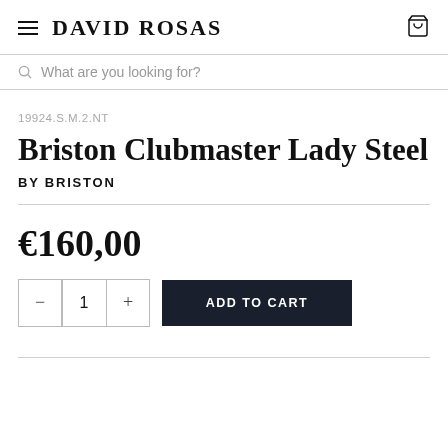DAVID ROSAS
What are you looking for?
19924.S.M.2.NT
Briston Clubmaster Lady Steel
BY BRISTON
€160,00
1
ADD TO CART